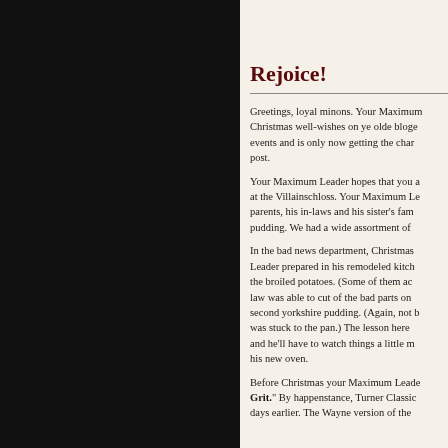Rejoice!
Greetings, loyal minons. Your Maximum Leader is posting his Christmas well-wishes on ye olde bloge a bit late. Life conspired to events and is only now getting the chance to put finger to key and post.
Your Maximum Leader hopes that you all had a fine Christmas at the Villainschloss. Your Maximum Leader hosted his parents, his in-laws and his sister's family for Christmas pudding. We had a wide assortment of
In the bad news department, Christmas dinner your Maximum Leader prepared in his remodeled kitchen was marred by the broiled potatoes. (Some of them ac the broiled potatoes. (Some of them ac law was able to cut of the bad parts on second yorkshire pudding. (Again, not b was stuck to the pan.) The lesson here and he'll have to watch things a little m his new oven.
Before Christmas your Maximum Leader Grit." By happenstance, Turner Classic days earlier. The Wayne version of the